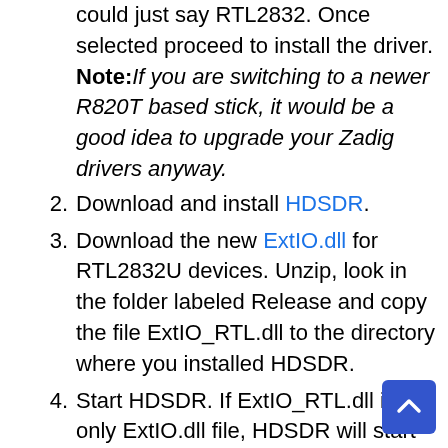(continuation) could just say RTL2832. Once selected proceed to install the driver. Note: If you are switching to a newer R820T based stick, it would be a good idea to upgrade your Zadig drivers anyway.
2. Download and install HDSDR.
3. Download the new ExtIO.dll for RTL2832U devices. Unzip, look in the folder labeled Release and copy the file ExtIO_RTL.dll to the directory where you installed HDSDR.
4. Start HDSDR. If ExtIO_RTL.dll is the only ExtIO.dll file, HDSDR will start immediately. If you have an additional ExtIO file in the directory from a previous install, you will get a file manager page first. You should then select the